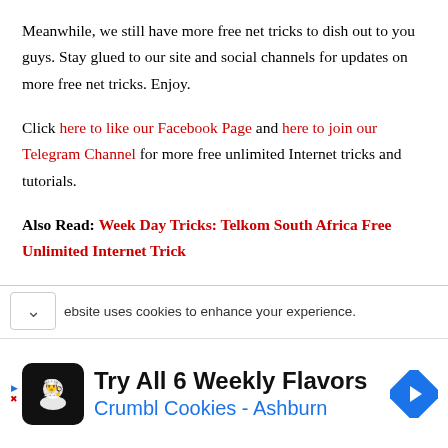Meanwhile, we still have more free net tricks to dish out to you guys. Stay glued to our site and social channels for updates on more free net tricks. Enjoy.
Click here to like our Facebook Page and here to join our Telegram Channel for more free unlimited Internet tricks and tutorials.
Also Read: Week Day Tricks: Telkom South Africa Free Unlimited Internet Trick
Requirements:
1. A Vodacom Mozambique SIM card with zero data and call
ebsite uses cookies to enhance your experience.
[Figure (infographic): Advertisement banner: Try All 6 Weekly Flavors - Crumbl Cookies - Ashburn, with chef logo icon and navigation arrow icon]